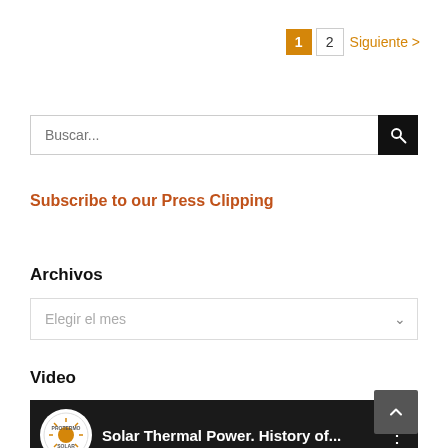1  2  Siguiente >
[Figure (screenshot): Search bar with placeholder text 'Buscar...' and a black search button with magnifying glass icon]
Subscribe to our Press Clipping
Archivos
[Figure (screenshot): Dropdown selector with placeholder 'Elegir el mes' and a chevron arrow on the right]
Video
[Figure (screenshot): Video thumbnail with dark background showing Protermo Solar logo circle and title 'Solar Thermal Power. History of...' in white text with a vertical dots menu icon]